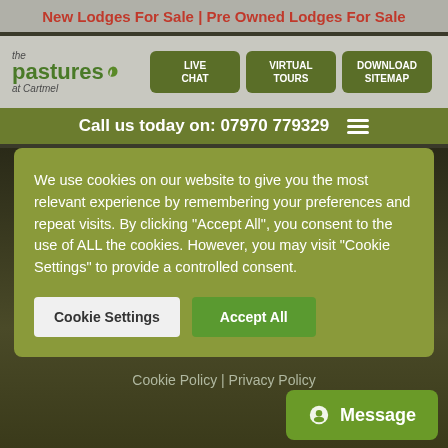New Lodges For Sale | Pre Owned Lodges For Sale
[Figure (logo): The Pastures at Cartmel logo with green leaf icon]
LIVE CHAT
VIRTUAL TOURS
DOWNLOAD SITEMAP
Call us today on: 07970 779329
We use cookies on our website to give you the most relevant experience by remembering your preferences and repeat visits. By clicking "Accept All", you consent to the use of ALL the cookies. However, you may visit "Cookie Settings" to provide a controlled consent.
Cookie Settings
Accept All
Cookie Policy | Privacy Policy
Message